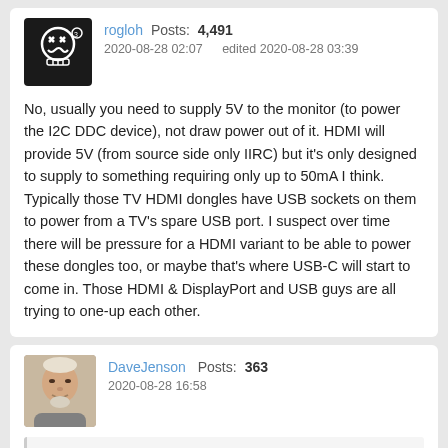rogloh   Posts: 4,491
2020-08-28 02:07   edited 2020-08-28 03:39
No, usually you need to supply 5V to the monitor (to power the I2C DDC device), not draw power out of it. HDMI will provide 5V (from source side only IIRC) but it's only designed to supply to something requiring only up to 50mA I think. Typically those TV HDMI dongles have USB sockets on them to power from a TV's spare USB port. I suspect over time there will be pressure for a HDMI variant to be able to power these dongles too, or maybe that's where USB-C will start to come in. Those HDMI & DisplayPort and USB guys are all trying to one-up each other.
DaveJenson   Posts: 363
2020-08-28 16:58
Peter Jakacki wrote: »
Years ago I put a Prop into an extended VGA